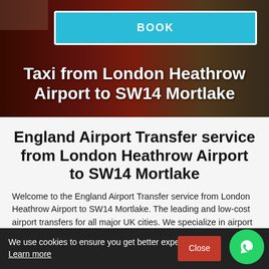[Figure (screenshot): Hero image with a dark blurred background showing a red London bus, with a blue BOOK button overlay and title text 'Taxi from London Heathrow Airport to SW14 Mortlake']
England Airport Transfer service from London Heathrow Airport to SW14 Mortlake
Welcome to the England Airport Transfer service from London Heathrow Airport to SW14 Mortlake. The leading and low-cost airport transfers for all major UK cities. We specialize in airport taxi transfers to and from London Airport for both individuals and groups, on a chivalrous and professional service at an affordable price.
We use cookies to ensure you get better experience Learn more
Close